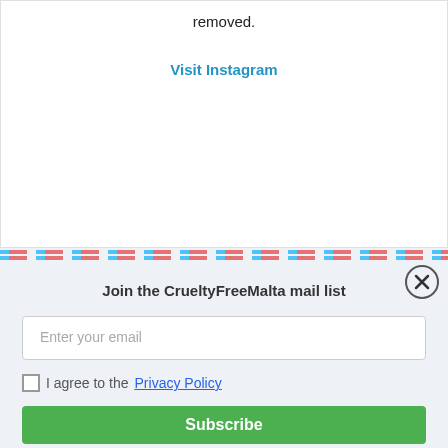removed.
Visit Instagram
Join the CrueltyFreeMalta mail list
Enter your email
I agree to the Privacy Policy
Subscribe